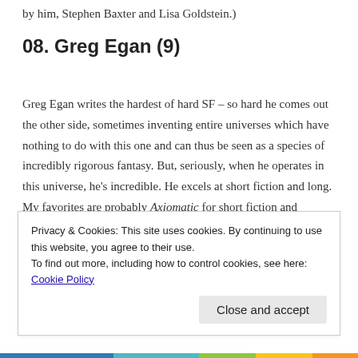by him, Stephen Baxter and Lisa Goldstein.)
08. Greg Egan (9)
Greg Egan writes the hardest of hard SF – so hard he comes out the other side, sometimes inventing entire universes which have nothing to do with this one and can thus be seen as a species of incredibly rigorous fantasy. But, seriously, when he operates in this universe, he's incredible. He excels at short fiction and long. My favorites are probably Axiomatic for short fiction and Diaspora for
Privacy & Cookies: This site uses cookies. By continuing to use this website, you agree to their use.
To find out more, including how to control cookies, see here: Cookie Policy
Close and accept